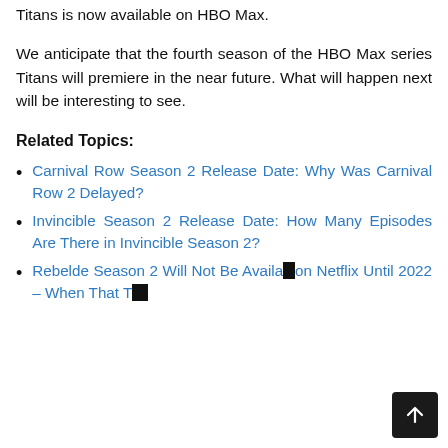Titans is now available on HBO Max.
We anticipate that the fourth season of the HBO Max series Titans will premiere in the near future. What will happen next will be interesting to see.
Related Topics:
Carnival Row Season 2 Release Date: Why Was Carnival Row 2 Delayed?
Invincible Season 2 Release Date: How Many Episodes Are There in Invincible Season 2?
Rebelde Season 2 Will Not Be Available on Netflix Until 2022 – When That Time